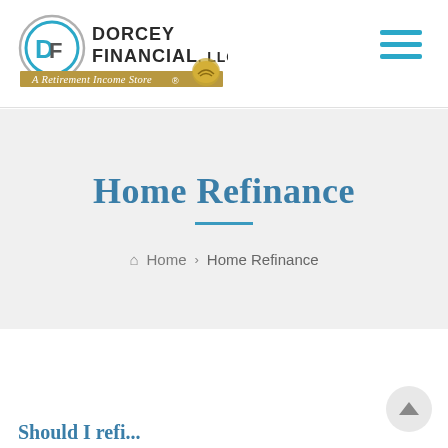[Figure (logo): Dorcey Financial, LLC logo — DF icon with circular graphic, text 'DORCEY FINANCIAL, LLC' and tagline 'A Retirement Income Store' with handshake graphic]
Home › Home Refinance
Home Refinance
⌂ Home › Home Refinance
Should Loo fi...